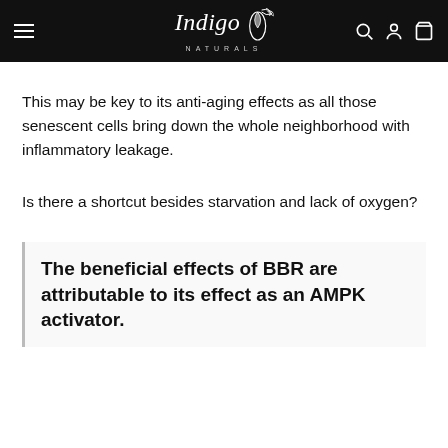Indigo Naturals
This may be key to its anti-aging effects as all those senescent cells bring down the whole neighborhood with inflammatory leakage.
Is there a shortcut besides starvation and lack of oxygen?
The beneficial effects of BBR are attributable to its effect as an AMPK activator.